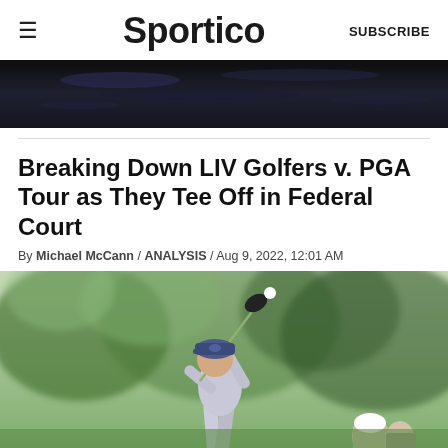≡  Sportico  SUBSCRIBE
[Figure (photo): Partial top image, dark background with reflective surface]
Breaking Down LIV Golfers v. PGA Tour as They Tee Off in Federal Court
By Michael McCann / ANALYSIS / Aug 9, 2022, 12:01 AM
[Figure (photo): Golfer in a Callaway cap mid-swing with a driver, green tree background, spectators watching]